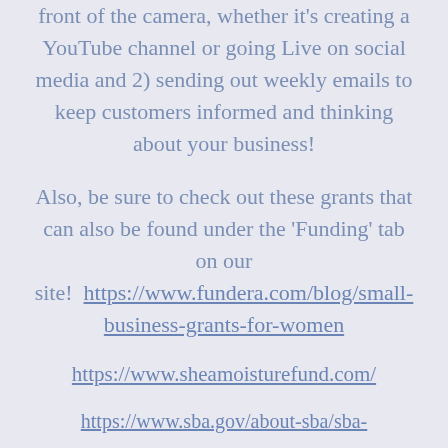front of the camera, whether it's creating a YouTube channel or going Live on social media and 2) sending out weekly emails to keep customers informed and thinking about your business!
Also, be sure to check out these grants that can also be found under the 'Funding' tab on our site!  https://www.fundera.com/blog/small-business-grants-for-women
https://www.sheamoisturefund.com/
https://www.sba.gov/about-sba/sba-